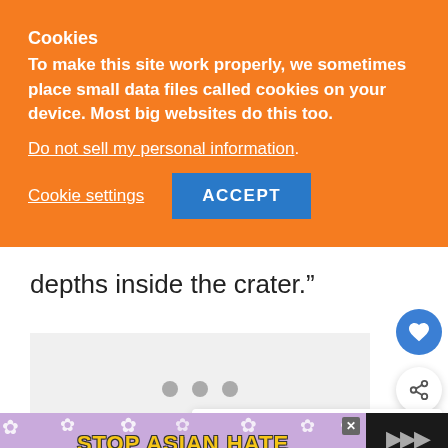Cookies
To make this site work properly, we sometimes place small data files called cookies on your device. Most big websites do this too.
Do not sell my personal information.
Cookie settings   ACCEPT
depths inside the crater.”
[Figure (screenshot): Gray loading placeholder box with three dots]
[Figure (infographic): What's Next card with thumbnail photo and text: Here's What Happened to...]
[Figure (infographic): Bottom advertisement banner reading STOP ASIAN HATE with decorative flowers and a character illustration, alongside a dark sidebar with volume icon]